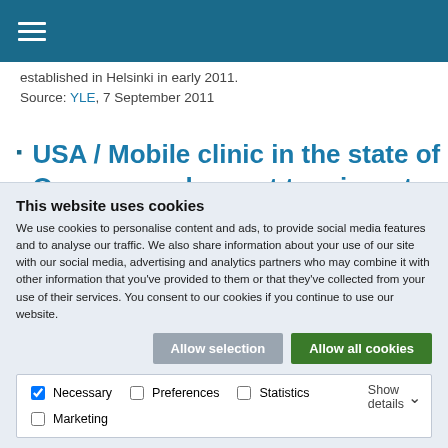established in Helsinki in early 2011. Source: YLE, 7 September 2011
USA / Mobile clinic in the state of Oregon reaches out to migrant agricultural workers
This website uses cookies
We use cookies to personalise content and ads, to provide social media features and to analyse our traffic. We also share information about your use of our site with our social media, advertising and analytics partners who may combine it with other information that you've provided to them or that they've collected from your use of their services. You consent to our cookies if you continue to use our website.